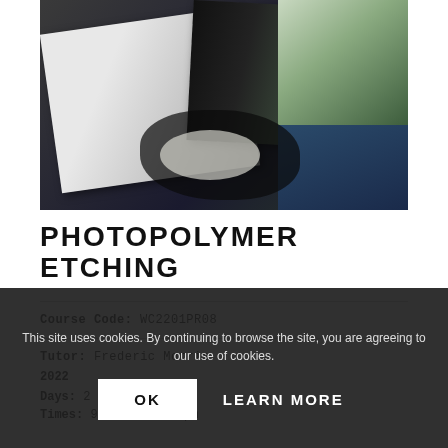[Figure (photo): Photo of etching prints on dark surface, showing curled paper with black and white etchings and a green-tinted print]
PHOTOPOLYMER ETCHING
Course Code: WC2201PR08
Tutor: Frederic Morris
2022
Days: 2
Times: 9.45am - 1.45pm
This site uses cookies. By continuing to browse the site, you are agreeing to our use of cookies.